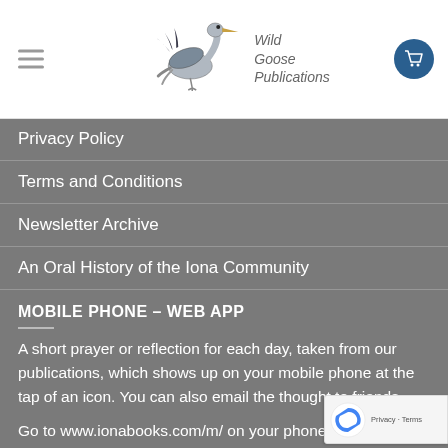[Figure (logo): Wild Goose Publications logo with flying goose illustration and text]
Privacy Policy
Terms and Conditions
Newsletter Archive
An Oral History of the Iona Community
MOBILE PHONE – WEB APP
A short prayer or reflection for each day, taken from our publications, which shows up on your mobile phone at the tap of an icon. You can also email the thought to friends.
Go to www.ionabooks.com/m/ on your phone and make a handy icon for your phone by creating